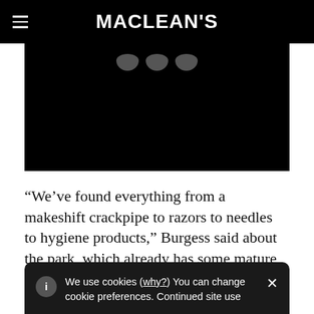MACLEAN'S
[Figure (photo): Dark/black image area with three small rounded icon shapes visible near the top center]
“We’ve found everything from a makeshift crackpipe to razors to needles to hygiene products,” Burgess said about the park, which already has some mature trees and bushes.
We use cookies (why?) You can change cookie preferences. Continued site use